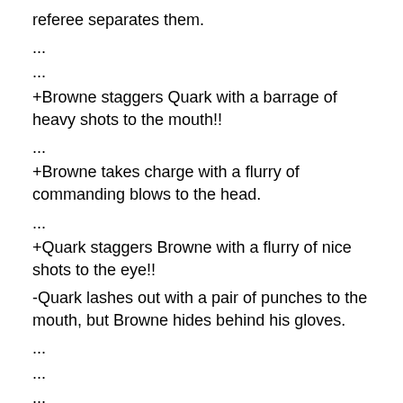referee separates them.
...
...
+Browne staggers Quark with a barrage of heavy shots to the mouth!!
...
+Browne takes charge with a flurry of commanding blows to the head.
...
+Quark staggers Browne with a flurry of nice shots to the eye!!
-Quark lashes out with a pair of punches to the mouth, but Browne hides behind his gloves.
...
...
...
...
...
Browne tries to attack, but Quark hangs on until the